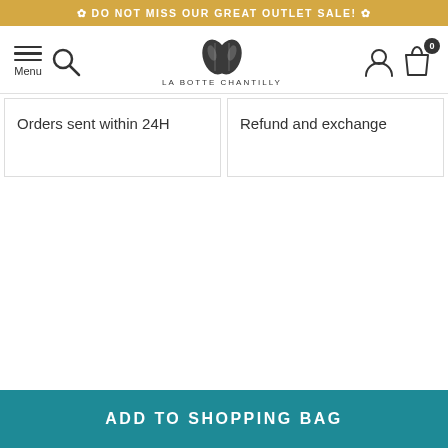✿ DO NOT MISS OUR GREAT OUTLET SALE! ✿
[Figure (logo): La Botte Chantilly logo with navigation bar including menu icon, search icon, brand logo with two coffee-bean shapes, user icon, and shopping bag icon with 0 badge]
Orders sent within 24H
Refund and exchange
ADD TO SHOPPING BAG